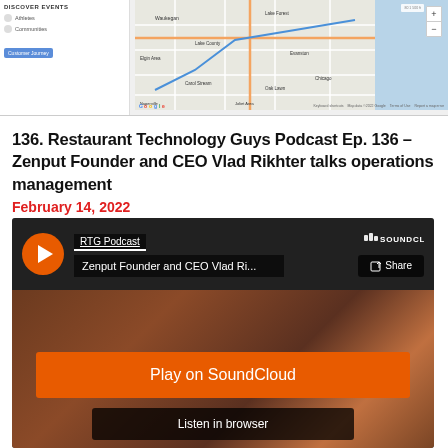[Figure (screenshot): Google Maps screenshot showing a map of the Chicago area with a sidebar showing navigation options and a 'Customer Journey' button]
136. Restaurant Technology Guys Podcast Ep. 136 – Zenput Founder and CEO Vlad Rikhter talks operations management
February 14, 2022
[Figure (screenshot): SoundCloud embedded player showing RTG Podcast episode 'Zenput Founder and CEO Vlad Ri...' with Play on SoundCloud and Listen in browser buttons]